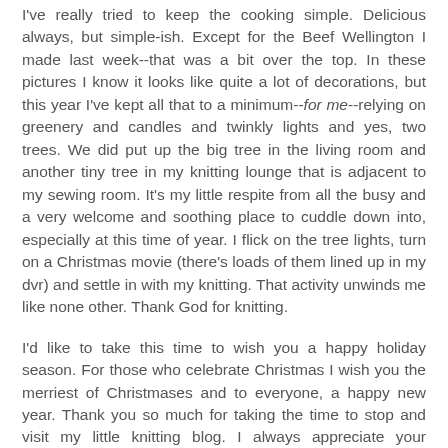I've really tried to keep the cooking simple.  Delicious always, but simple-ish.  Except for the Beef Wellington I made last week--that was a bit over the top.  In these pictures I know it looks like quite a lot of decorations, but this year I've kept all that to a minimum--for me--relying on greenery and candles and twinkly lights and yes, two trees.  We did put up the big tree in the living room and another tiny tree in my knitting lounge that is adjacent to my sewing room.  It's my little respite from all the busy and a very welcome and soothing place to cuddle down into, especially at this time of year.  I flick on the tree lights, turn on a Christmas movie (there's loads of them lined up in my dvr) and settle in with my knitting.  That activity unwinds me like none other.  Thank God for knitting.
I'd like to take this time to wish you a happy holiday season.  For those who celebrate Christmas I wish you the merriest of Christmases and to everyone, a happy new year.  Thank you so much for taking the time to stop and visit my little knitting blog.  I always appreciate your readership and cherish each comment here and on my Facebook page.  You guys are the best.  I love that we have my three hobbies--knitting,